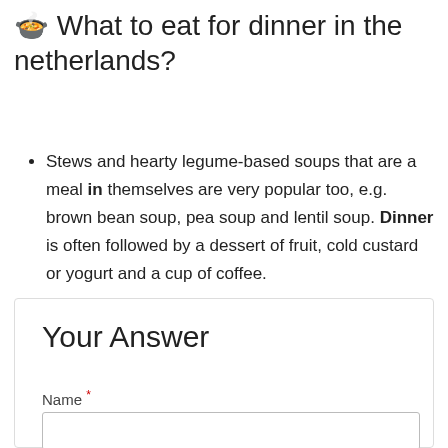🍲 What to eat for dinner in the netherlands?
Stews and hearty legume-based soups that are a meal in themselves are very popular too, e.g. brown bean soup, pea soup and lentil soup. Dinner is often followed by a dessert of fruit, cold custard or yogurt and a cup of coffee.
Your Answer
Name *